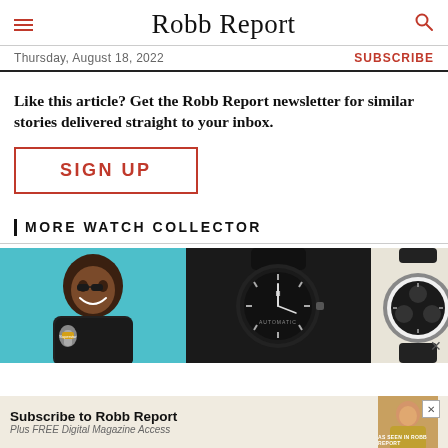Robb Report
Thursday, August 18, 2022
SUBSCRIBE
Like this article? Get the Robb Report newsletter for similar stories delivered straight to your inbox.
SIGN UP
MORE WATCH COLLECTOR
[Figure (photo): Three thumbnail images: a man smiling with microphone, a black Hublot watch, and two watches side by side (front and back views)]
Subscribe to Robb Report
Plus FREE Digital Magazine Access